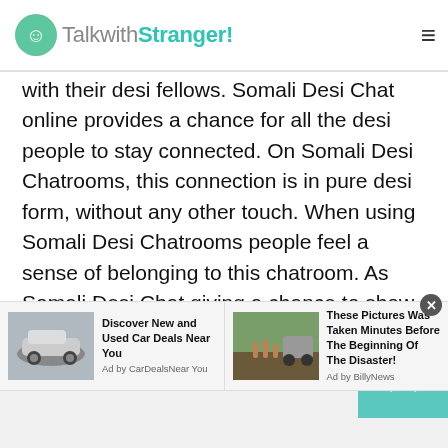TalkwithStranger!
with their desi fellows. Somali Desi Chat online provides a chance for all the desi people to stay connected. On Somali Desi Chatrooms, this connection is in pure desi form, without any other touch. When using Somali Desi Chatrooms people feel a sense of belonging to this chatroom. As Somali Desi Chat giving a chance to show their real me. In Somali Desi Chatrooms people don't need to pretend to be modern or fake. They can be what they're and what they feel like. They can purely show their feelings.
Somali Desi Chatrooms help people to stay
[Figure (other): Advertisement banner: left ad shows a car image with text 'Discover New and Used Car Deals Near You', Ad by CarDealsNearYou; right ad shows people/truck image with text 'These Pictures Was Taken Minutes Before The Beginning Of The Disaster!', Ad by BillyNews]